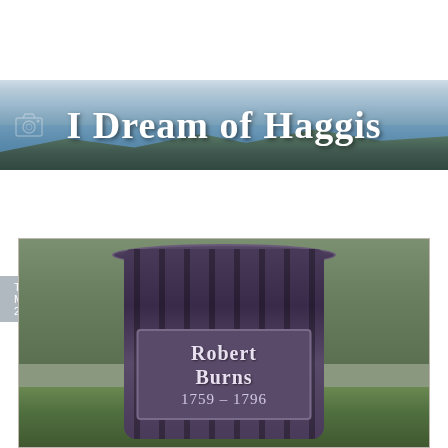[Figure (illustration): Blog header banner reading 'I Dream of Haggis' with landscape/sky background and camera icon on left]
Tuesday, May 08, 2007
WEEKEND IN PICTURES
[Figure (photo): Photo of a purple/dark cylindrical bin/waste bin with a plaque reading 'Robert Burns 1759 - 1796', set against a grassy outdoor background]